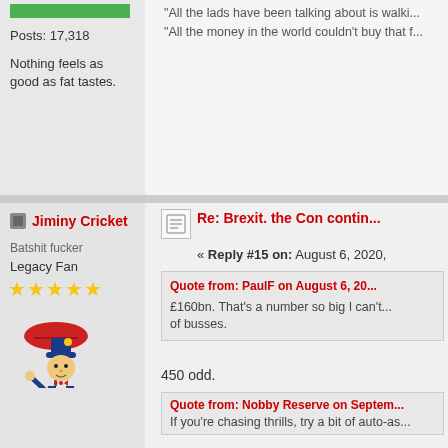Posts: 17,318
Nothing feels as good as fat tastes.
"All the lads have been talking about is walki... "All the money in the world couldn't buy that f...
Jiminy Cricket
Batshit fucker
Legacy Fan
★★★★★
Posts: 6,782
We all Live in a Red and White Kop
Re: Brexit. the Con contin...
« Reply #15 on: August 6, 2020,
Quote from: PaulF on August 6, 20...
£160bn. That's a number so big I can't... of busses.
450 odd.
Just used a calculator: 8.8 years at 3...
Quote from: Nobby Reserve on Septem...
If you're chasing thrills, try a bit of auto-as...